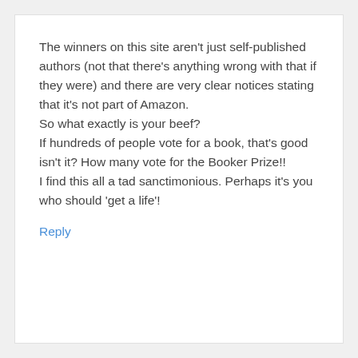The winners on this site aren't just self-published authors (not that there's anything wrong with that if they were) and there are very clear notices stating that it's not part of Amazon.
So what exactly is your beef?
If hundreds of people vote for a book, that's good isn't it? How many vote for the Booker Prize!!
I find this all a tad sanctimonious. Perhaps it's you who should 'get a life'!
Reply